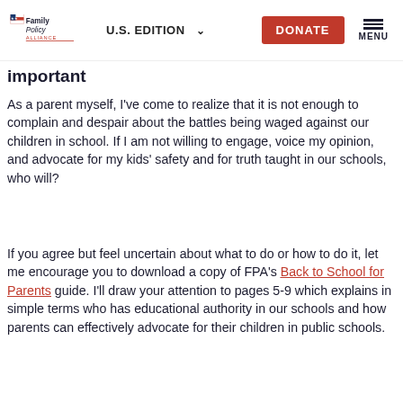Family Policy Alliance | U.S. EDITION | DONATE | MENU
important
As a parent myself, I've come to realize that it is not enough to complain and despair about the battles being waged against our children in school. If I am not willing to engage, voice my opinion, and advocate for my kids' safety and for truth taught in our schools, who will?
If you agree but feel uncertain about what to do or how to do it, let me encourage you to download a copy of FPA's Back to School for Parents guide. I'll draw your attention to pages 5-9 which explains in simple terms who has educational authority in our schools and how parents can effectively advocate for their children in public schools.